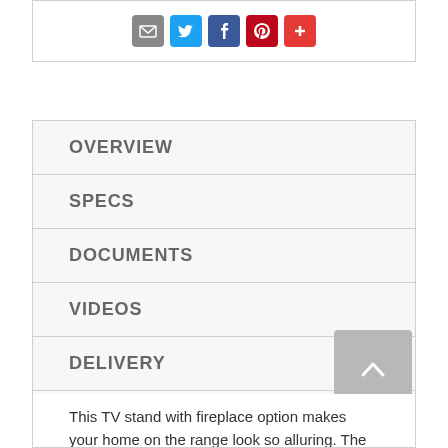[Figure (other): Social sharing icons: email (gray), Twitter (blue), Facebook (blue), Pinterest (red), Google Plus (red)]
OVERVIEW
SPECS
DOCUMENTS
VIDEOS
DELIVERY
WARRANTY
This TV stand with fireplace option makes your home on the range look so alluring. The aesthetic